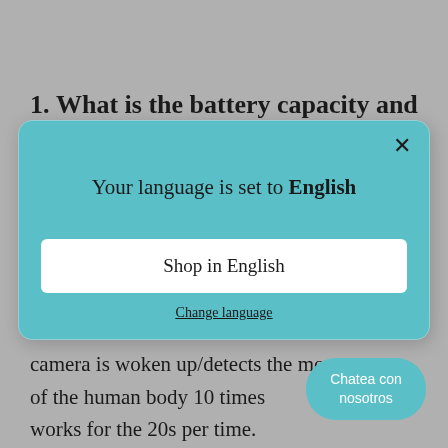1. What is the battery capacity and how
[Figure (screenshot): A modal dialog box with teal/cyan background. Contains a close (×) button in top-right corner. Title text reads 'Your language is set to English'. A white rectangular button labeled 'Shop in English'. An underlined link 'Change language' below the button.]
camera is woken up/detects the movements of the human body 10 times works for the 20s per time.
Chatea con nosotros